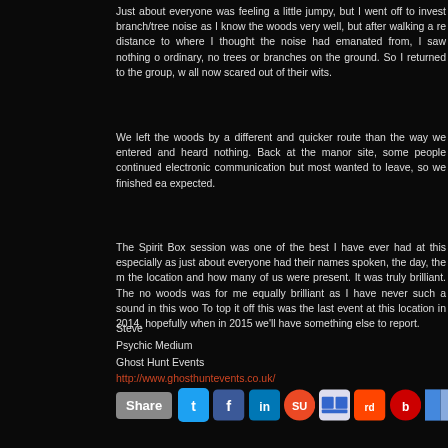Just about everyone was feeling a little jumpy, but I went off to investigate the branch/tree noise as I know the woods very well, but after walking a reasonable distance to where I thought the noise had emanated from, I saw nothing out of the ordinary, no trees or branches on the ground. So I returned to the group, who were all now scared out of their wits.
We left the woods by a different and quicker route than the way we entered and saw and heard nothing. Back at the manor site, some people continued to try electronic communication but most wanted to leave, so we finished earlier than expected.
The Spirit Box session was one of the best I have ever had at this location, especially as just about everyone had their names spoken, the day, the month, the location and how many of us were present. It was truly brilliant. The noise in the woods was for me equally brilliant as I have never such a sound in this woods before. To top it off this was the last event at this location in 2014, hopefully when we return in 2015 we'll have something else to report.
Steve
Psychic Medium
Ghost Hunt Events
http://www.ghosthuntevents.co.uk/
[Figure (infographic): Share buttons row with social media icons: Twitter, Facebook, LinkedIn, StumbleUpon, Delicious, Reddit, Bebo, and another sharing service]